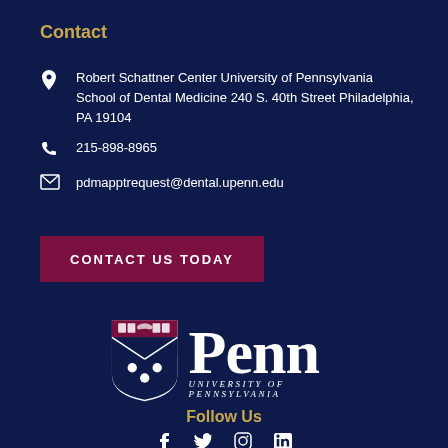Contact
Robert Schattner Center University of Pennsylvania School of Dental Medicine 240 S. 40th Street Philadelphia, PA 19104
215-898-8965
pdmapptrequest@dental.upenn.edu
CONTACT US TODAY
[Figure (logo): University of Pennsylvania shield logo with Penn wordmark and UNIVERSITY of PENNSYLVANIA text]
Follow Us